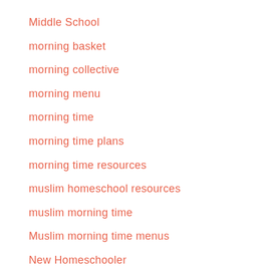Middle School
morning basket
morning collective
morning menu
morning time
morning time plans
morning time resources
muslim homeschool resources
muslim morning time
Muslim morning time menus
New Homeschooler
new homeschoolers
Online Resources
Preschool